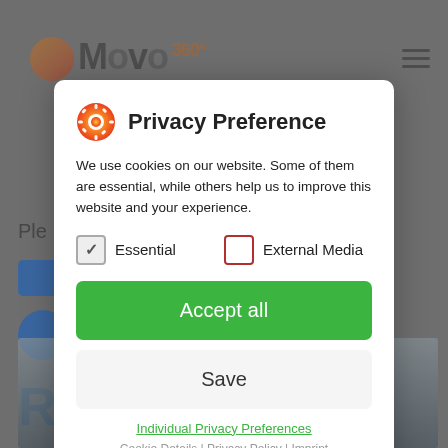[Figure (screenshot): Background website screenshot showing partial Move360 logo, navigation, social buttons, and car interior image]
Privacy Preference
We use cookies on our website. Some of them are essential, while others help us to improve this website and your experience.
Essential
External Media
Accept all
Save
Individual Privacy Preferences
Cookie Details | Privacy Policy | Imprint